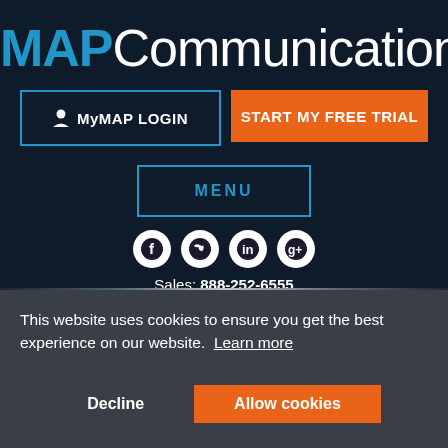MAPCommunications
MyMAP LOGIN
START MY FREE TRIAL
MENU
[Figure (illustration): Social media icons: Facebook, Twitter, LinkedIn, Google+]
Sales: 888-252-6555
Customer Service: 800-627-0114
This website uses cookies to ensure you get the best experience on our website. Learn more
Decline
Allow cookies